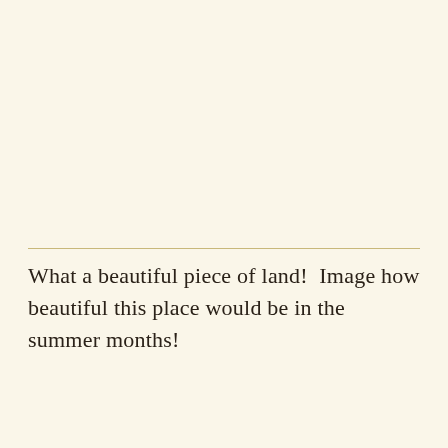What a beautiful piece of land!  Image how beautiful this place would be in the summer months!